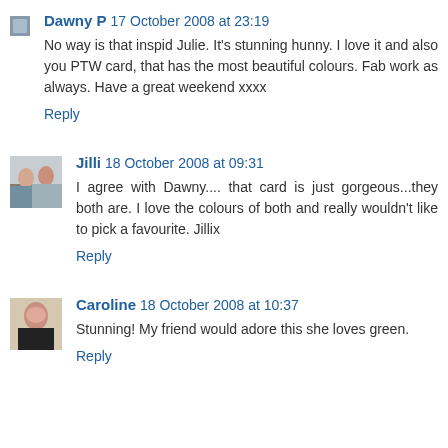Dawny P 17 October 2008 at 23:19
No way is that inspid Julie. It's stunning hunny. I love it and also you PTW card, that has the most beautiful colours. Fab work as always. Have a great weekend xxxx
Reply
Jilli 18 October 2008 at 09:31
I agree with Dawny.... that card is just gorgeous...they both are. I love the colours of both and really wouldn't like to pick a favourite. Jillix
Reply
Caroline 18 October 2008 at 10:37
Stunning! My friend would adore this she loves green.
Reply